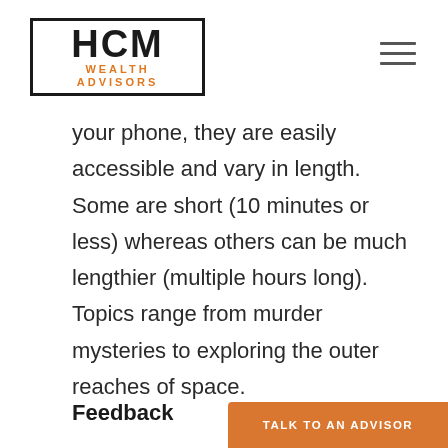HCM WEALTH ADVISORS
your phone, they are easily accessible and vary in length. Some are short (10 minutes or less) whereas others can be much lengthier (multiple hours long). Topics range from murder mysteries to exploring the outer reaches of space.
Feedback